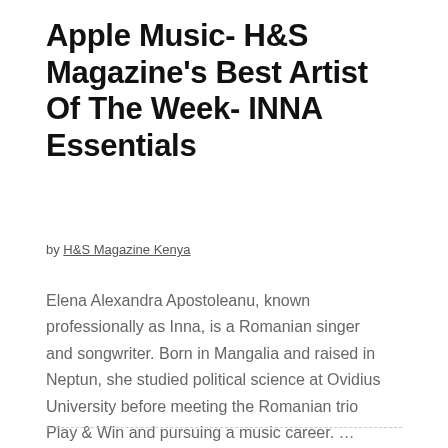Apple Music- H&S Magazine's Best Artist Of The Week- INNA Essentials
by H&S Magazine Kenya
Elena Alexandra Apostoleanu, known professionally as Inna, is a Romanian singer and songwriter. Born in Mangalia and raised in Neptun, she studied political science at Ovidius University before meeting the Romanian trio Play & Win and pursuing a music career. …